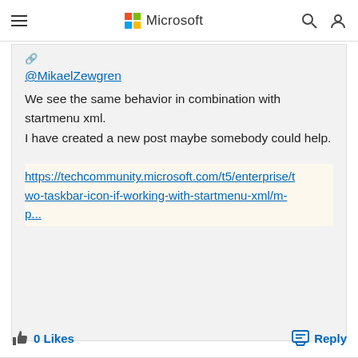Microsoft
@MikaelZewgren
We see the same behavior in combination with startmenu xml.
I have created a new post maybe somebody could help.
https://techcommunity.microsoft.com/t5/enterprise/two-taskbar-icon-if-working-with-startmenu-xml/m-p...
0 Likes
Reply